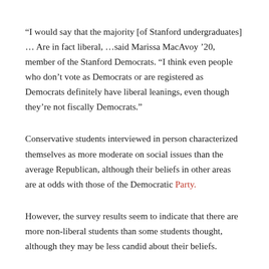“I would say that the majority [of Stanford undergraduates] … Are in fact liberal, …said Marissa MacAvoy ’20, member of the Stanford Democrats. “I think even people who don’t vote as Democrats or are registered as Democrats definitely have liberal leanings, even though they’re not fiscally Democrats.”
Conservative students interviewed in person characterized themselves as more moderate on social issues than the average Republican, although their beliefs in other areas are at odds with those of the Democratic Party.
However, the survey results seem to indicate that there are more non-liberal students than some students thought, although they may be less candid about their beliefs.
“I have the impression that there is in fact a strong Republican